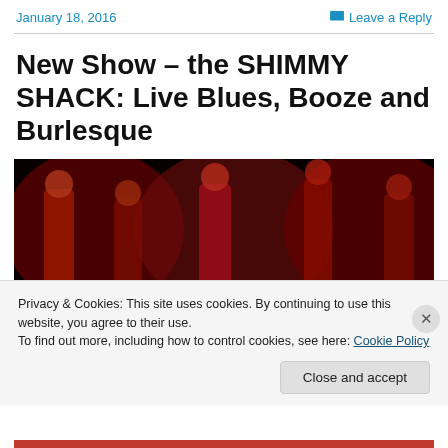January 18, 2016   Leave a Reply
New Show – the SHIMMY SHACK: Live Blues, Booze and Burlesque
[Figure (photo): Multiple performers on stage under red lighting, burlesque show]
Privacy & Cookies: This site uses cookies. By continuing to use this website, you agree to their use.
To find out more, including how to control cookies, see here: Cookie Policy
Close and accept